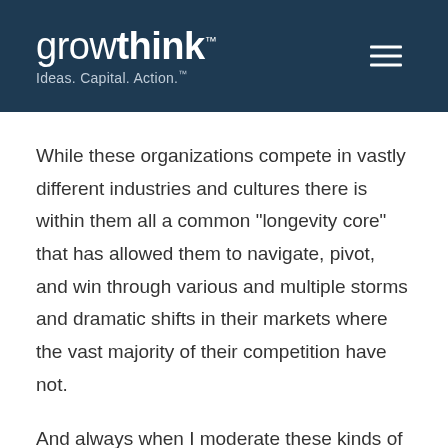[Figure (logo): Growthink logo with tagline 'Ideas. Capital. Action.' on dark navy header]
While these organizations compete in vastly different industries and cultures there is within them all a common “longevity core” that has allowed them to navigate, pivot, and win through various and multiple storms and dramatic shifts in their markets where the vast majority of their competition have not.
And always when I moderate these kinds of sessions, and ask executives to share the “Whys” of their companies, what they stood for when founded